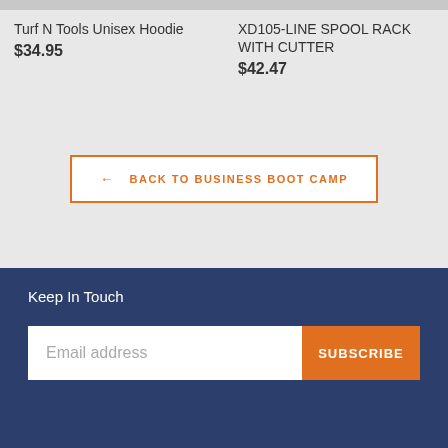Turf N Tools Unisex Hoodie
$34.95
XD105-LINE SPOOL RACK WITH CUTTER
$42.47
← BACK TO BUSINESS BOOT CAMP
Keep In Touch
Email address
SUBSCRIBE